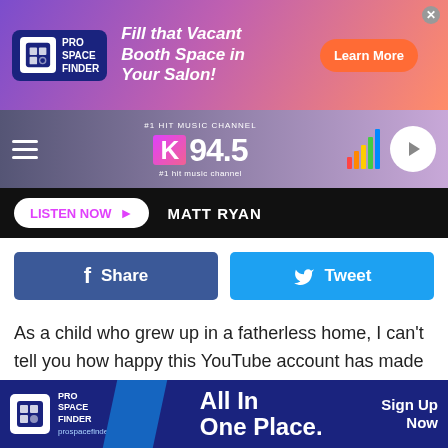[Figure (other): Top banner advertisement for ProSpaceFinder: 'Fill that Vacant Booth Space in Your Salon! Learn More']
[Figure (other): K94.5 #1 Hit Music Channel radio station navigation bar with hamburger menu and play button]
[Figure (other): Listen Now button bar with station name MATT RYAN]
[Figure (other): Facebook Share and Twitter Tweet social sharing buttons]
As a child who grew up in a fatherless home, I can't tell you how happy this YouTube account has made me.
If you've been online at all recently, chances are you've scrolled past this new and incredibly popular Youtube channel. The channel is appropriately named "Dad, how do i"
[Figure (other): Bottom banner advertisement for ProSpaceFinder: 'All In One Place. Sign Up Now' at prospacefinder.com]